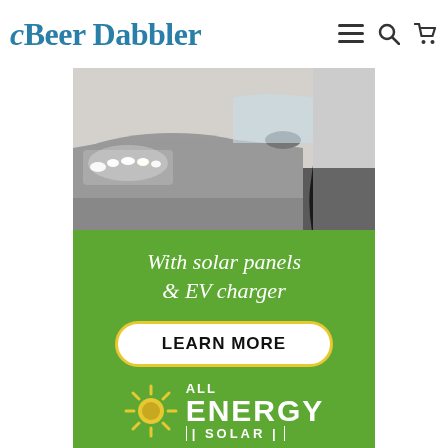Beer Dabbler
[Figure (photo): Close-up photo of a silver electric car headlight with bright LED lights and a charging cable plugged in, parked in a garage]
[Figure (infographic): Green advertisement banner for All Energy Solar showing tagline 'With solar panels & EV charger', a LEARN MORE button with yellow border, and the All Energy Solar logo with sun icon]